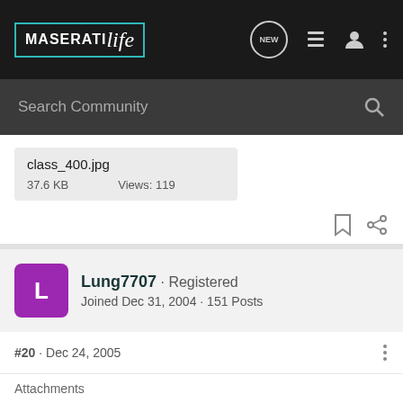MaseratiLife — navigation bar with search
class_400.jpg
37.6 KB    Views: 119
Lung7707 · Registered
Joined Dec 31, 2004 · 151 Posts
#20 · Dec 24, 2005
Wet skid pan...
Attachments